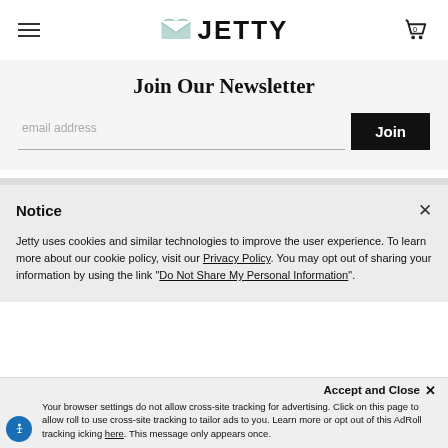[Figure (logo): Jetty brand logo with teal bird/envelope icon and bold JETTY wordmark]
Join Our Newsletter
email address
Join
Notice
Jetty uses cookies and similar technologies to improve the user experience. To learn more about our cookie policy, visit our Privacy Policy. You may opt out of sharing your information by using the link "Do Not Share My Personal Information".
Accept and Close ✕
Your browser settings do not allow cross-site tracking for advertising. Click on this page to allow roll to use cross-site tracking to tailor ads to you. Learn more or opt out of this AdRoll tracking icking here. This message only appears once.